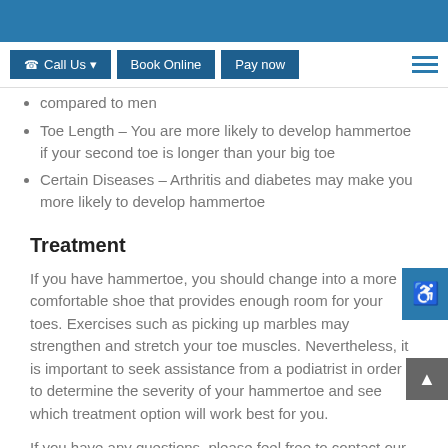Call Us | Book Online | Pay now
compared to men
Toe Length – You are more likely to develop hammertoe if your second toe is longer than your big toe
Certain Diseases – Arthritis and diabetes may make you more likely to develop hammertoe
Treatment
If you have hammertoe, you should change into a more comfortable shoe that provides enough room for your toes. Exercises such as picking up marbles may strengthen and stretch your toe muscles. Nevertheless, it is important to seek assistance from a podiatrist in order to determine the severity of your hammertoe and see which treatment option will work best for you.
If you have any questions, please feel free to contact our offices located in Port St Lucie, Stuart, and Hollywood, FL. We offer the newest diagnostic and treatment technologies